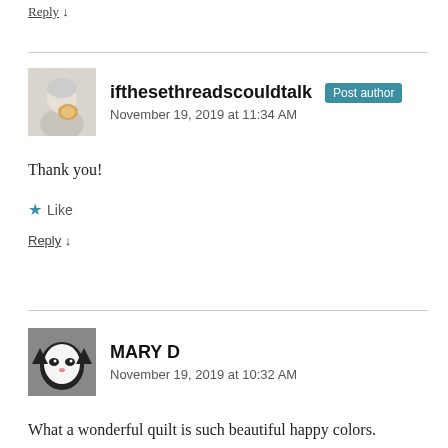Reply ↓
ifthesethreadscouldtalk Post author
November 19, 2019 at 11:34 AM
Thank you!
★ Like
Reply ↓
MARY D
November 19, 2019 at 10:32 AM
What a wonderful quilt is such beautiful happy colors.